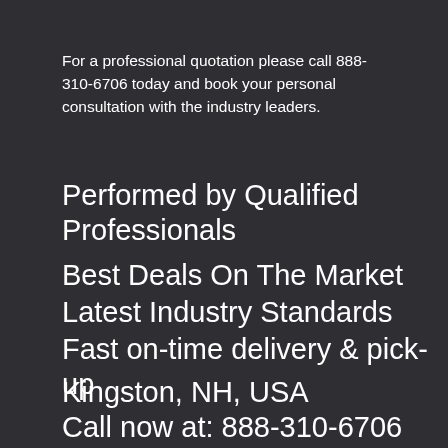For a professional quotation please call 888-310-6706 today and book your personal consultation with the industry leaders.
Performed by Qualified Professionals
Best Deals On The Market
Latest Industry Standards
Fast on-time delivery & pick-up
Kingston, NH, USA
Call now at: 888-310-6706
Hours: Mon-Su 8am - 7pm